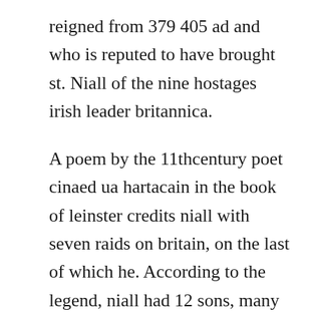reigned from 379 405 ad and who is reputed to have brought st. Niall of the nine hostages irish leader britannica.
A poem by the 11thcentury poet cinaed ua hartacain in the book of leinster credits niall with seven raids on britain, on the last of which he. According to the legend, niall had 12 sons, many of which were rulers after nialls death. Childrens book about irish king inspired by dna research. The fact that my own dna is the most likely candidate to date allied with my surname is irrelevant, i would